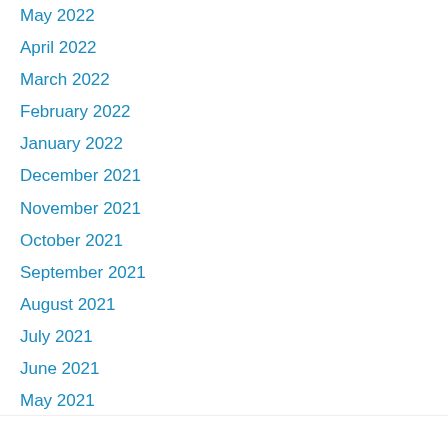May 2022
April 2022
March 2022
February 2022
January 2022
December 2021
November 2021
October 2021
September 2021
August 2021
July 2021
June 2021
May 2021
Privacy & Cookies: This site uses cookies. By continuing to use this website, you agree to their use.
To find out more, including how to control cookies, see here: Cookie Policy
Close and accept